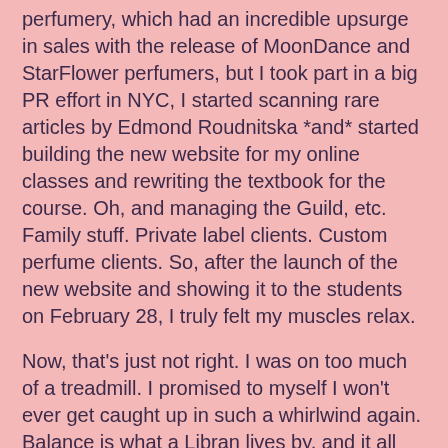perfumery, which had an incredible upsurge in sales with the release of MoonDance and StarFlower perfumers, but I took part in a big PR effort in NYC, I started scanning rare articles by Edmond Roudnitska *and* started building the new website for my online classes and rewriting the textbook for the course. Oh, and managing the Guild, etc. Family stuff. Private label clients. Custom perfume clients. So, after the launch of the new website and showing it to the students on February 28, I truly felt my muscles relax.
Now, that's just not right. I was on too much of a treadmill. I promised to myself I won't ever get caught up in such a whirlwind again. Balance is what a Libran lives by, and it all got out of balance. I just took on too much. Still, the rewards have been fantastic.
First, the new website for the students - it's gorgeous!!! Easy to navigate, fast-loading pages, pretty, pretty, pretty and full of incredible content and freebies for the students. When I launched the first-ever online natural perfumery course in 2007, I used the Moodle database platform. What a freaking dinosaur! Slow, clunky, hard-to-navigate, and a real hassle to